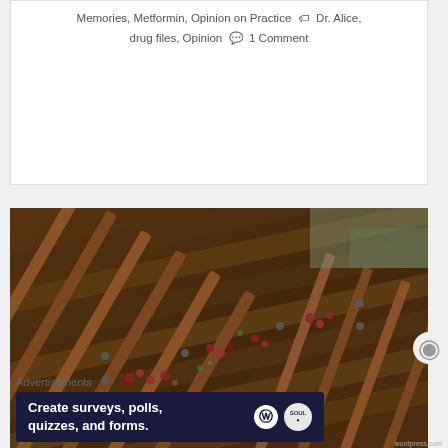Memories, Metformin, Opinion on Practice 🏷 Dr. Alice, drug files, Opinion 💬 1 Comment
[Figure (photo): Close-up photograph of rusty old railway tracks with wooden sleepers and small red/pink plants growing between the rails, shot at a diagonal angle.]
Advertisements
Create surveys, polls, quizzes, and forms.